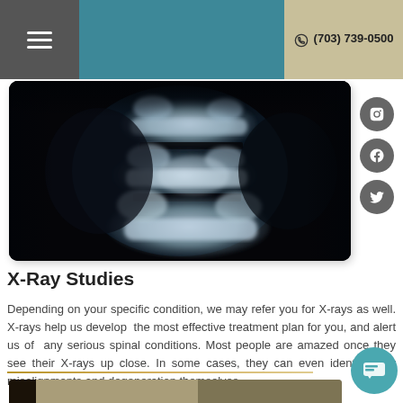(703) 739-0500
[Figure (photo): X-ray image of the spine showing vertebrae with dark background, lateral view]
X-Ray Studies
Depending on your specific condition, we may refer you for X-rays as well. X-rays help us develop the most effective treatment plan for you, and alert us of any serious spinal conditions. Most people are amazed once they see their X-rays up close. In some cases, they can even identify their misalignments and degeneration themselves.
[Figure (photo): Partial view of another image at the bottom of the page]